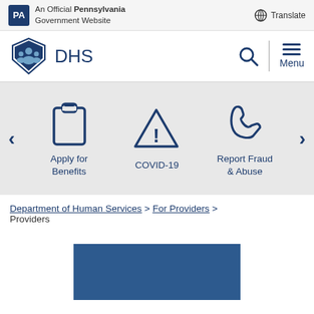An Official Pennsylvania Government Website
[Figure (logo): DHS Pennsylvania Department of Human Services logo with search and menu icons]
[Figure (infographic): Carousel with three items: Apply for Benefits (clipboard icon), COVID-19 (warning triangle icon), Report Fraud & Abuse (phone icon), with left and right arrows]
Department of Human Services > For Providers > Providers
[Figure (screenshot): Partial blue rectangle at bottom of page, beginning of an image or banner]